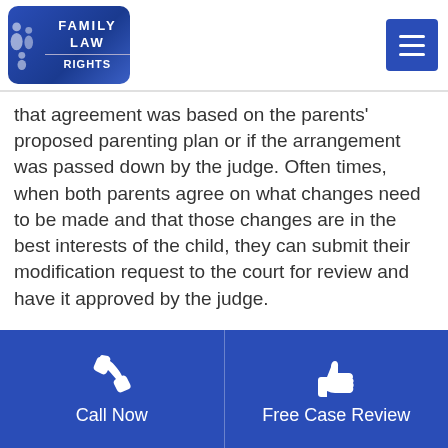[Figure (logo): Family Law Rights logo — blue rounded rectangle with silhouette figures and text 'FAMILY LAW RIGHTS']
that agreement was based on the parents' proposed parenting plan or if the arrangement was passed down by the judge. Often times, when both parents agree on what changes need to be made and that those changes are in the best interests of the child, they can submit their modification request to the court for review and have it approved by the judge.
Should one parent want a modification and the other parent does not agree, it then becomes the job of the requesting
[Figure (infographic): Blue footer bar with two buttons: phone icon 'Call Now' on left, thumbs-up icon 'Free Case Review' on right]